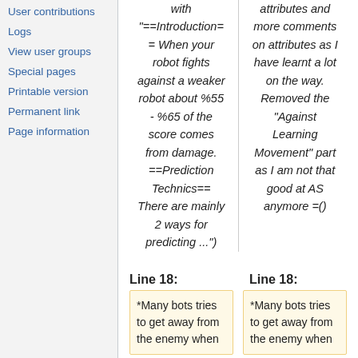User contributions
Logs
View user groups
Special pages
Printable version
Permanent link
Page information
with "==Introduction== When your robot fights against a weaker robot about %55 - %65 of the score comes from damage. ==Prediction Technics== There are mainly 2 ways for predicting ...")
attributes and more comments on attributes as I have learnt a lot on the way. Removed the "Against Learning Movement" part as I am not that good at AS anymore =()
Line 18:
Line 18:
*Many bots tries to get away from the enemy when
*Many bots tries to get away from the enemy when